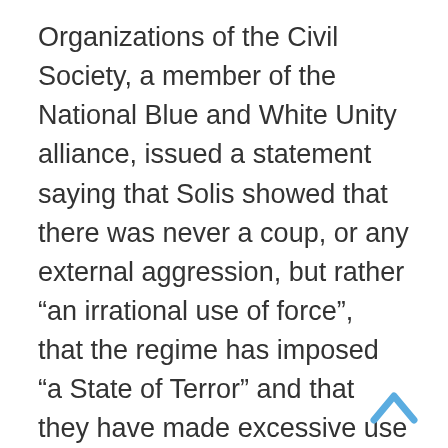Organizations of the Civil Society, a member of the National Blue and White Unity alliance, issued a statement saying that Solis showed that there was never a coup, or any external aggression, but rather “an irrational use of force”,  that the regime has imposed “a State of Terror” and that they have made excessive use of the Ortega police and paramilitary forces, using weapons of war. And above all, he admits in his letter that the trials that the dictatorship has launched against the population are mostly political trials, where orders from the El